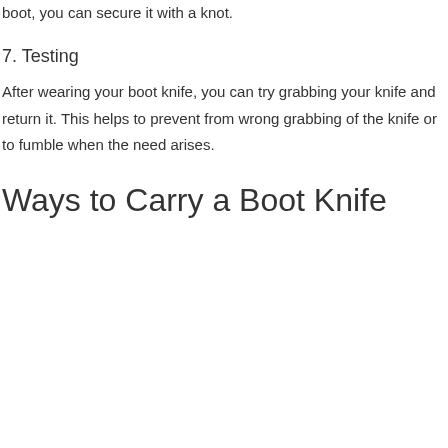boot, you can secure it with a knot.
7. Testing
After wearing your boot knife, you can try grabbing your knife and return it. This helps to prevent from wrong grabbing of the knife or to fumble when the need arises.
Ways to Carry a Boot Knife